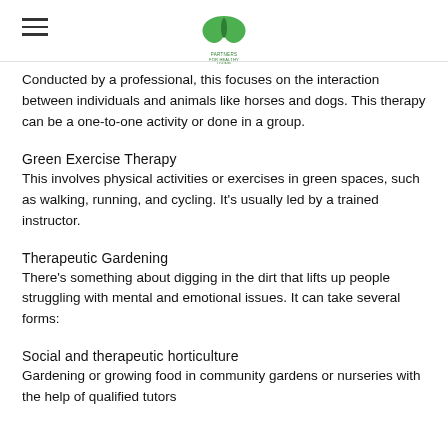[Logo: Partners for Healthy Living]
Conducted by a professional, this focuses on the interaction between individuals and animals like horses and dogs. This therapy can be a one-to-one activity or done in a group.
Green Exercise Therapy
This involves physical activities or exercises in green spaces, such as walking, running, and cycling. It's usually led by a trained instructor.
Therapeutic Gardening
There's something about digging in the dirt that lifts up people struggling with mental and emotional issues. It can take several forms:
Social and therapeutic horticulture
Gardening or growing food in community gardens or nurseries with the help of qualified tutors